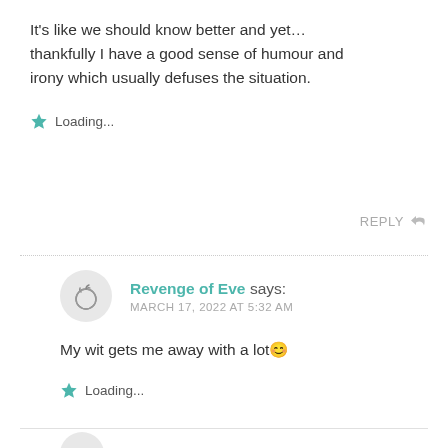It's like we should know better and yet… thankfully I have a good sense of humour and irony which usually defuses the situation.
★ Loading...
REPLY ↩
Revenge of Eve says: MARCH 17, 2022 AT 5:32 AM
My wit gets me away with a lot 😊
★ Loading...